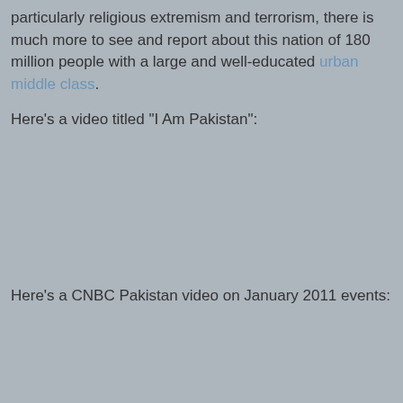particularly religious extremism and terrorism, there is much more to see and report about this nation of 180 million people with a large and well-educated urban middle class.
Here's a video titled "I Am Pakistan":
[Figure (other): Embedded video placeholder - gray rectangle representing a video titled 'I Am Pakistan']
Here's a CNBC Pakistan video on January 2011 events:
[Figure (other): Embedded video placeholder - gray rectangle representing a CNBC Pakistan video on January 2011 events]